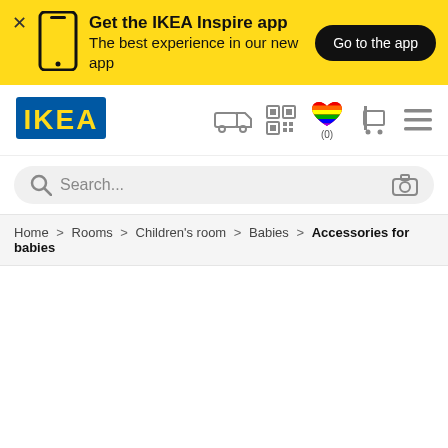[Figure (infographic): IKEA app promotion banner with yellow background, phone icon, text 'Get the IKEA Inspire app – The best experience in our new app', and a 'Go to the app' button]
[Figure (logo): IKEA logo – blue rectangle with yellow IKEA text]
[Figure (infographic): Navigation icons: delivery truck, QR code, rainbow heart with (0), shopping cart, hamburger menu]
Search...
Home > Rooms > Children's room > Babies > Accessories for babies